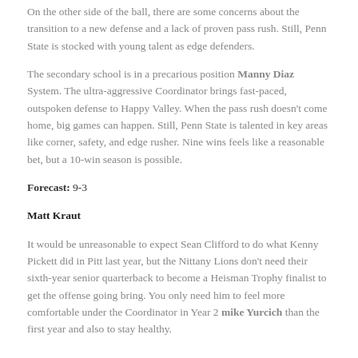On the other side of the ball, there are some concerns about the transition to a new defense and a lack of proven pass rush. Still, Penn State is stocked with young talent as edge defenders.
The secondary school is in a precarious position Manny Diaz System. The ultra-aggressive Coordinator brings fast-paced, outspoken defense to Happy Valley. When the pass rush doesn't come home, big games can happen. Still, Penn State is talented in key areas like corner, safety, and edge rusher. Nine wins feels like a reasonable bet, but a 10-win season is possible.
Forecast: 9-3
Matt Kraut
It would be unreasonable to expect Sean Clifford to do what Kenny Pickett did in Pitt last year, but the Nittany Lions don't need their sixth-year senior quarterback to become a Heisman Trophy finalist to get the offense going bring. You only need him to feel more comfortable under the Coordinator in Year 2 mike Yurcich than the first year and also to stay healthy.